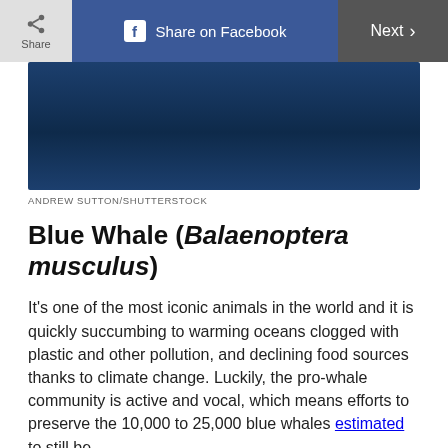Share | Share on Facebook | Next
[Figure (photo): Dark blue underwater/ocean photo of a blue whale]
ANDREW SUTTON/SHUTTERSTOCK
Blue Whale (Balaenoptera musculus)
It's one of the most iconic animals in the world and it is quickly succumbing to warming oceans clogged with plastic and other pollution, and declining food sources thanks to climate change. Luckily, the pro-whale community is active and vocal, which means efforts to preserve the 10,000 to 25,000 blue whales estimated to still be